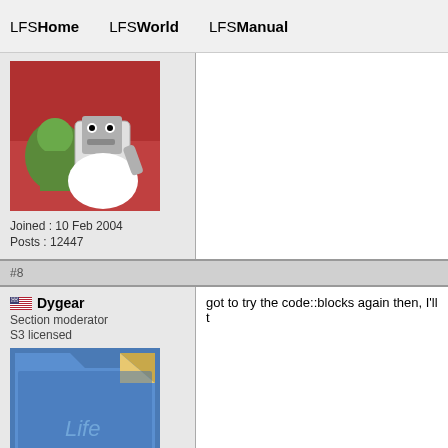LFSHome  LFSWorld  LFSManual
Joined : 10 Feb 2004
Posts : 12447
#8
Dygear
Section moderator
S3 licensed
Joined : 8 Feb 2005
Posts : 3814
got to try the code::blocks again then, I'll t
#9
the_angry_angel
S3 licensed
If you are going to use code::blocks I reco setup (quite frankly no one here should st